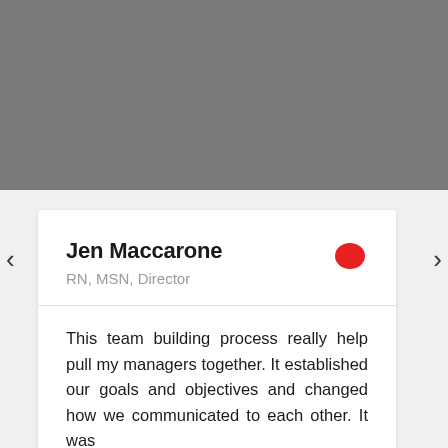[Figure (photo): Gray photo area at top of page, possibly a team or person photo cropped/obscured]
Jen Maccarone
RN, MSN, Director
This team building process really help pull my managers together. It established our goals and objectives and changed how we communicated to each other. It was